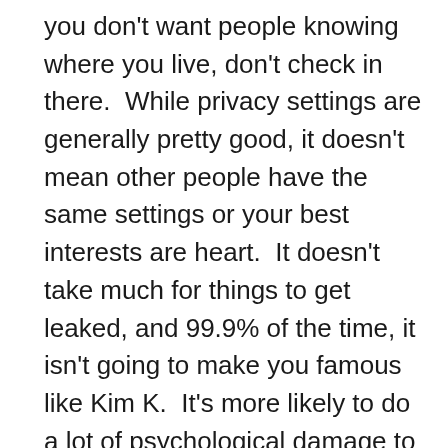you don't want people knowing where you live, don't check in there.  While privacy settings are generally pretty good, it doesn't mean other people have the same settings or your best interests are heart.  It doesn't take much for things to get leaked, and 99.9% of the time, it isn't going to make you famous like Kim K.  It's more likely to do a lot of psychological damage to you instead.  There was a big focus on sexting the media a little while ago, and victims were saying how their ex's shared their naked pictures and sex tapes with everyone, and how it's ruined their lives.  When asked why they thought it was a good idea in the first place,